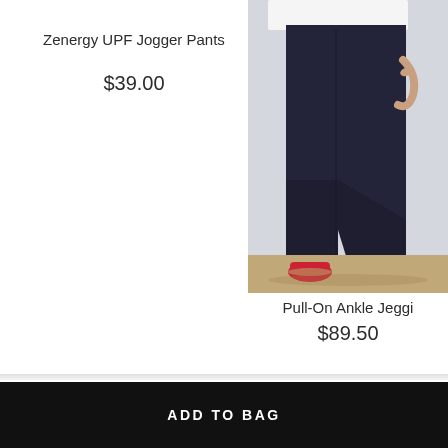Zenergy UPF Jogger Pants
$39.00
[Figure (photo): Model wearing black slim-fit pants with red embellished flat shoes, shown from waist down, standing on a neutral floor against a grey/white wall background.]
Pull-On Ankle Jeggi
$89.50
ADD TO BAG